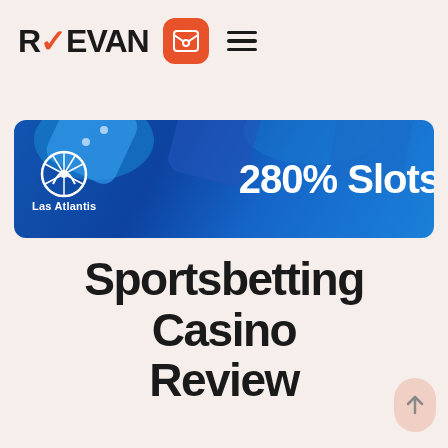REEVAN
[Figure (illustration): Las Atlantis casino banner with blue background, dice, logo, and text '280% Slots']
Sportsbetting Casino Review